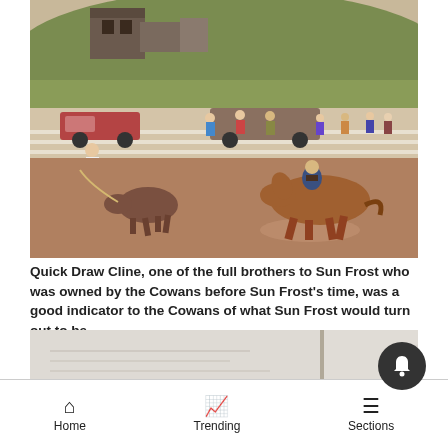[Figure (photo): Rodeo scene with a horse and rider chasing a calf in a dirt arena, spectators on bleachers and vehicles in the background, old buildings on a hill behind.]
Quick Draw Cline, one of the full brothers to Sun Frost who was owned by the Cowans before Sun Frost's time, was a good indicator to the Cowans of what Sun Frost would turn out to be.
[Figure (photo): Partially visible faded document or photograph, mostly white/grey.]
Home   Trending   Sections